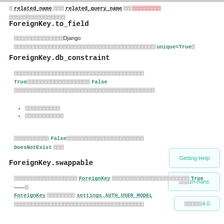□ related_name □□□related_query_name □□ □□□□□□□□ □□□□□□□□□□□□□□□□
ForeignKey.to_field
□□□□□□□□□□□□□□Django □□□□□□□□□□□□□□□□□□□□□□□□□□□□□□□□□□□□□□□□ unique=True□
ForeignKey.db_constraint
□□□□□□□□□□□□□□□□□□□□□□□□□□□□□□□□□□□□□ True□□□□□□□□□□□□□□□□□□ False □□□□□□□□□□□□□□□□□□□□□□□□□□□□□□□□□□□
□□□□□□□□□□
□□□□□□□□□□□
□□□□□□□□□□ False□□□□□□□□□□□□□□□□□□□□□□ DoesNotExist □□□
ForeignKey.swappable
□□□□□□□□□□□□□□□□□□ ForeignKey □□□□□□□□□□□□□□□□□□□□□□ True ——□ ForeignKey □□□□□□□□ settings.AUTH_USER_MODEL □□□□□□□□□□□□□□□□□□□□□□□□□□□□□□□□□□□□□